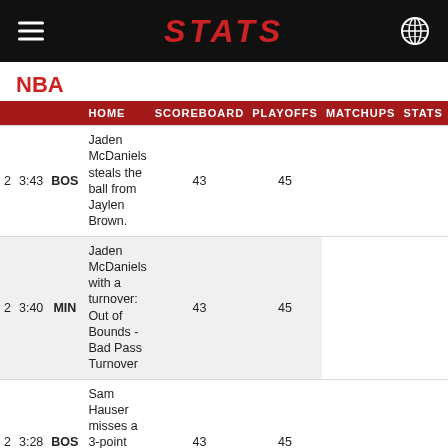STATS
NBA
|  |  |  |  | HOME | SCOREBOARD | PLAYOFFS | MATCHUPS | STATS | MORE... |
| --- | --- | --- | --- | --- | --- | --- | --- | --- | --- |
| 2 | 3:43 | BOS | Jaden McDaniels steals the ball from Jaylen Brown. | 43 | 45 |
| 2 | 3:40 | MIN | Jaden McDaniels with a turnover: Out of Bounds - Bad Pass Turnover | 43 | 45 |
| 2 | 3:28 | BOS | Sam Hauser misses a 3-point jump shot from 26 feet out. | 43 | 45 |
| 2 | 3:25 | BOS | Al Horford with an offensive rebound. | 43 | 45 |
| 2 | 3:23 | BOS | Payton Pritchard makes a 3-point jump shot from 26 feet out. Al Horford with the assist. | 46 | 45 |
| 2 | 3:11 | MIN | Nathan Knight with a turnover: Out of Bounds - Bad Pass Turnover | 46 | 45 |
| 2 | 2:54 | BOS | Jaylen Brown makes a jump shot from 18 feet out. Al Horford with the assist. | 48 | 45 |
| 2 | 2:24 | MIN | Al Horford steals the ball from Malik Beasley. | 48 | 45 |